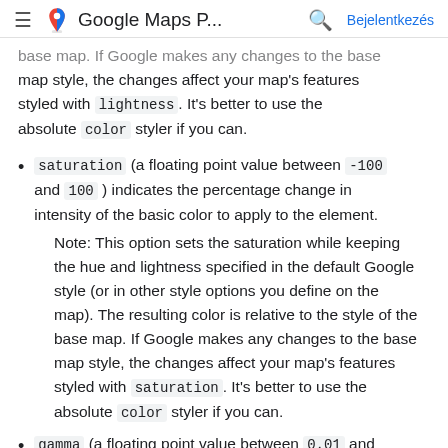Google Maps P... Bejelentkezés
base map. If Google makes any changes to the base map style, the changes affect your map's features styled with lightness. It's better to use the absolute color styler if you can.
saturation (a floating point value between -100 and 100) indicates the percentage change in intensity of the basic color to apply to the element.
Note: This option sets the saturation while keeping the hue and lightness specified in the default Google style (or in other style options you define on the map). The resulting color is relative to the style of the base map. If Google makes any changes to the base map style, the changes affect your map's features styled with saturation. It's better to use the absolute color styler if you can.
gamma (a floating point value between 0.01 and